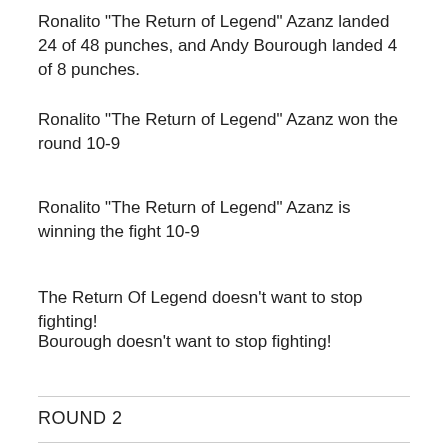Ronalito "The Return of Legend" Azanz landed 24 of 48 punches, and Andy Bourough landed 4 of 8 punches.
Ronalito "The Return of Legend" Azanz won the round 10-9
Ronalito "The Return of Legend" Azanz is winning the fight 10-9
The Return Of Legend doesn't want to stop fighting!
Bourough doesn't want to stop fighting!
ROUND 2